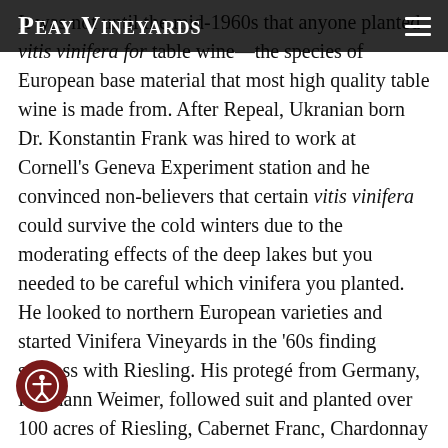Peay Vineyards
It was not until the mid-1960s that anyone planted vitis vinifera for table wine—the species of European base material that most high quality table wine is made from. After Repeal, Ukranian born Dr. Konstantin Frank was hired to work at Cornell's Geneva Experiment station and he convinced non-believers that certain vitis vinifera could survive the cold winters due to the moderating effects of the deep lakes but you needed to be careful which vinifera you planted. He looked to northern European varieties and started Vinifera Vineyards in the '60s finding success with Riesling. His protegé from Germany, Hermann Weimer, followed suit and planted over 100 acres of Riesling, Cabernet Franc, Chardonnay and other varieties. Most grapes were not grown by wineries (the estate model), however, but by farmers who did not have a long history of growing for quality and were accustomed to farming for high yields which can be very high here due to rich soils. This can be problematic for not only